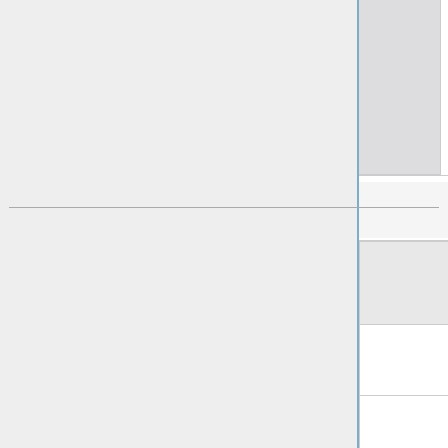Likely the super you
B/D version: Slow s... after King lands from...
A safejump afterwar...
MAX version: At 4f...
Climax Super Special Moves
Illusion Dance
| Illusion Dance
2141236CD (air okay) | Version |  |
| --- | --- | --- |
| [Images | Hitboxes]
[fighter image] | ground | (0+20+30+2... |
|  | air | (0+20+30+2... |